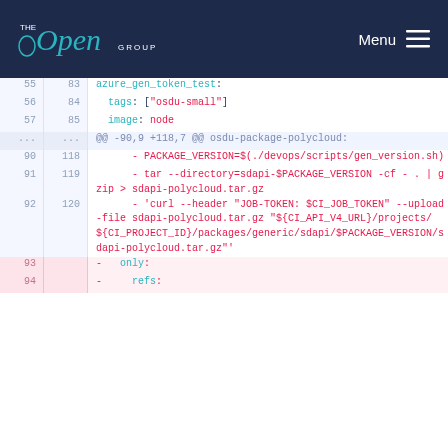The Open Group — Menu
Code diff showing lines 55-57 / 83-85 and lines 90-94 / 118-120 of a GitLab CI YAML file, including azure_gen_token_test job definition and osdu-package-polycloud packaging steps.